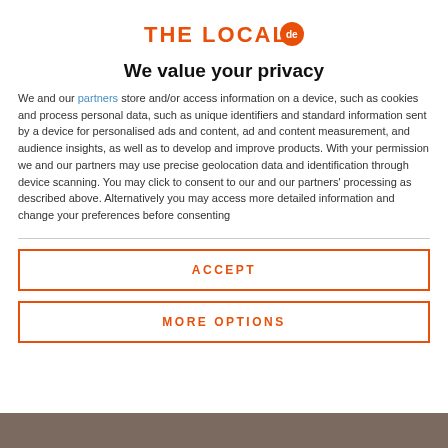Unique copy of Mein
[Figure (logo): The Local DE logo with orange text and orange circle badge with 'de']
We value your privacy
We and our partners store and/or access information on a device, such as cookies and process personal data, such as unique identifiers and standard information sent by a device for personalised ads and content, ad and content measurement, and audience insights, as well as to develop and improve products. With your permission we and our partners may use precise geolocation data and identification through device scanning. You may click to consent to our and our partners' processing as described above. Alternatively you may access more detailed information and change your preferences before consenting
ACCEPT
MORE OPTIONS